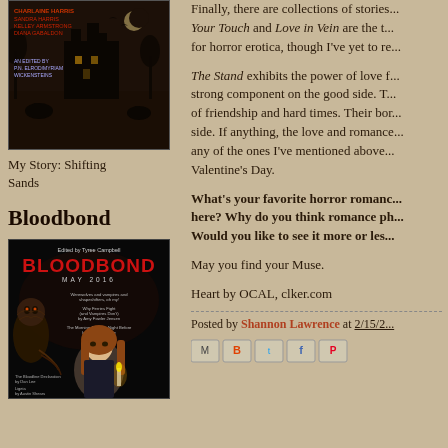[Figure (illustration): Dark fantasy book cover illustration showing a haunted house/castle in dark tones with figures and text]
My Story: Shifting Sands
Bloodbond
[Figure (illustration): Bloodbond anthology cover edited by Tyree Campbell, May 2016, showing a werewolf creature and a woman with a candle, dark background with red title text]
Finally, there are collections of stories... Your Touch and Love in Vein are the t... for horror erotica, though I've yet to re...
The Stand exhibits the power of love f... strong component on the good side. T... of friendship and hard times. Their bor... side. If anything, the love and romance... any of the ones I've mentioned above.... Valentine's Day.
What's your favorite horror romanc... here? Why do you think romance ph... Would you like to see it more or les...
May you find your Muse.
Heart by OCAL, clker.com
Posted by Shannon Lawrence at 2/15/2...
[Figure (screenshot): Social sharing icons: email, blogger, twitter, facebook, pinterest]